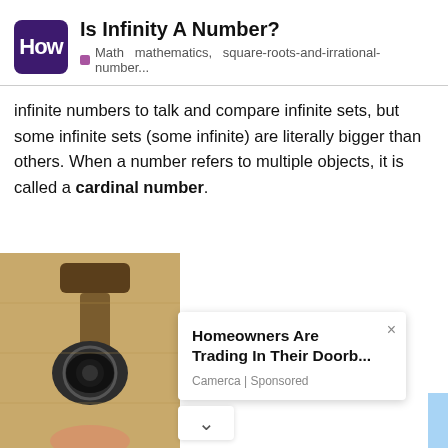Is Infinity A Number? | How — Math  mathematics,  square-roots-and-irrational-number...
infinite numbers to talk and compare infinite sets, but some infinite sets (some infinite) are literally bigger than others. When a number refers to multiple objects, it is called a cardinal number.
[Figure (screenshot): Advertisement overlay: photo of outdoor security camera on wall lamp, with ad card reading 'Homeowners Are Trading In Their Doorb...' by Camerca | Sponsored, with close button and chevron]
Infinity is... no specific measura... for our c...